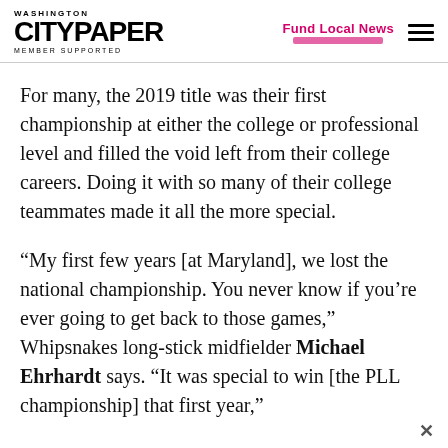WASHINGTON CITYPAPER MEMBER SUPPORTED | Fund Local News
For many, the 2019 title was their first championship at either the college or professional level and filled the void left from their college careers. Doing it with so many of their college teammates made it all the more special.
“My first few years [at Maryland], we lost the national championship. You never know if you’re ever going to get back to those games,” Whipsnakes long-stick midfielder Michael Ehrhardt says. “It was special to win [the PLL championship] that first year,”